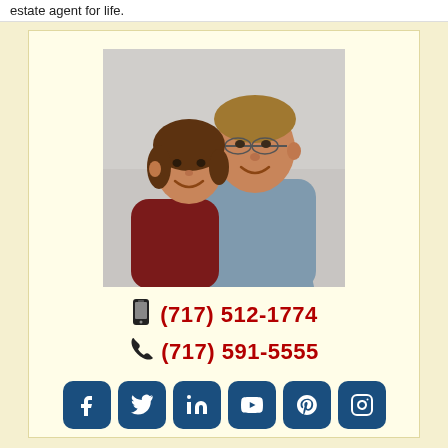estate agent for life.
[Figure (photo): A smiling couple posing together — a woman with brown hair wearing a dark red top on the left, and a taller man with glasses and a grey shirt on the right, against a light grey background.]
(717) 512-1774
(717) 591-5555
[Figure (other): Row of six social media icons: Facebook, Twitter, LinkedIn, YouTube, Pinterest, Instagram — all in dark navy blue rounded square buttons with white icons.]